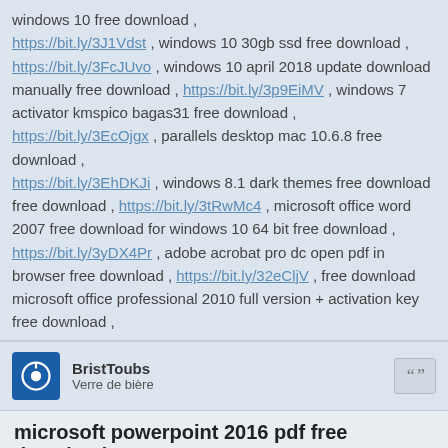windows 10 free download , https://bit.ly/3J1Vdst , windows 10 30gb ssd free download , https://bit.ly/3FcJUvo , windows 10 april 2018 update download manually free download , https://bit.ly/3p9EiMV , windows 7 activator kmspico bagas31 free download , https://bit.ly/3EcOjgx , parallels desktop mac 10.6.8 free download , https://bit.ly/3EhDKJi , windows 8.1 dark themes free download free download , https://bit.ly/3tRwMc4 , microsoft office word 2007 free download for windows 10 64 bit free download , https://bit.ly/3yDX4Pr , adobe acrobat pro dc open pdf in browser free download , https://bit.ly/32eCljV , free download microsoft office professional 2010 full version + activation key free download , https://bit.ly/3sn68qT , windows server 2012 essentials license key free download ,
BristToubs
Verre de bière
microsoft powerpoint 2016 pdf free download
mar. févr. 01, 2022 05:39
http://1305.downloadfirstyou.com/
http://240.how-tonow.fun/